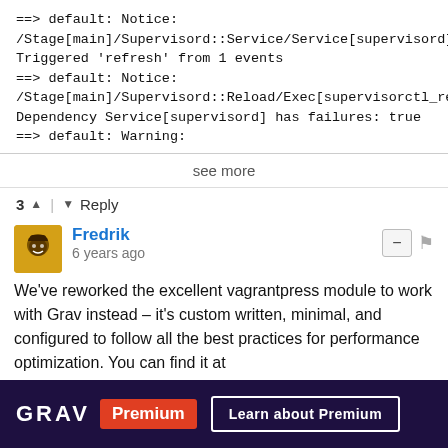==> default: Notice: /Stage[main]/Supervisord::Service/Service[supervisord]: Triggered 'refresh' from 1 events
==> default: Notice: /Stage[main]/Supervisord::Reload/Exec[supervisorctl_rere Dependency Service[supervisord] has failures: true
==> default: Warning:
see more
3 ^ | v Reply
Fredrik
6 years ago
We've reworked the excellent vagrantpress module to work with Grav instead – it's custom written, minimal, and configured to follow all the best practices for performance optimization. You can find it at https://github.com/Lundgren...
GRAV Premium  Learn about Premium